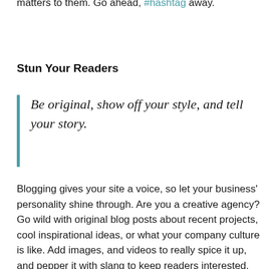matters to them. Go ahead, #hashtag away.
Stun Your Readers
Be original, show off your style, and tell your story.
Blogging gives your site a voice, so let your business' personality shine through. Are you a creative agency? Go wild with original blog posts about recent projects, cool inspirational ideas, or what your company culture is like. Add images, and videos to really spice it up, and pepper it with slang to keep readers interested. Are you a programmer? Stay on the more technical side by offering weekly tips, tricks, and hacks that show off your